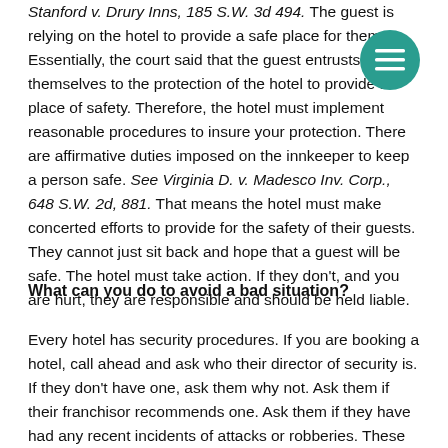Stanford v. Drury Inns, 185 S.W. 3d 494. The guest is relying on the hotel to provide a safe place for them. Essentially, the court said that the guest entrusts themselves to the protection of the hotel to provide a place of safety. Therefore, the hotel must implement reasonable procedures to insure your protection. There are affirmative duties imposed on the innkeeper to keep a person safe. See Virginia D. v. Madesco Inv. Corp., 648 S.W. 2d, 881. That means the hotel must make concerted efforts to provide for the safety of their guests. They cannot just sit back and hope that a guest will be safe. The hotel must take action. If they don't, and you are hurt, they are responsible and should be held liable.
What can you do to avoid a bad situation?
Every hotel has security procedures. If you are booking a hotel, call ahead and ask who their director of security is. If they don't have one, ask them why not. Ask them if their franchisor recommends one. Ask them if they have had any recent incidents of attacks or robberies. These are all answers they should readily have available and be able to answer. If you cannot get answers